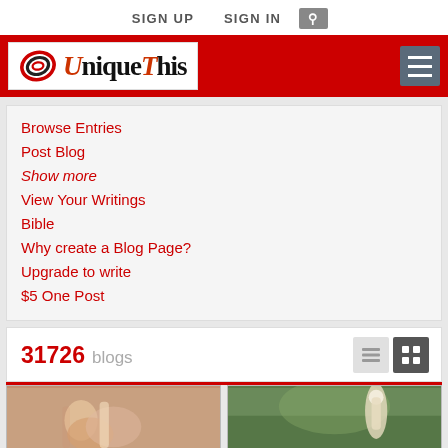SIGN UP  SIGN IN  🔍
[Figure (logo): UniqueThis logo — swirl graphic followed by text 'UniqueThis' in serif font with red accents, on white background, set in red banner]
Browse Entries
Post Blog
Show more
View Your Writings
Bible
Why create a Blog Page?
Upgrade to write
$5 One Post
31726 blogs
[Figure (photo): Two blog preview thumbnail images: left shows a person drinking from a glass bottle, right shows a dropper bottle in nature/greenery setting]